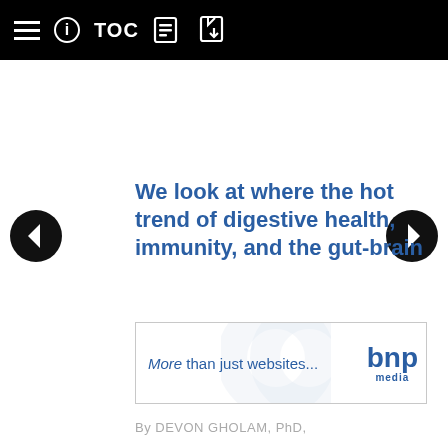≡  ℹ  TOC  [icons]
We look at where the hot trend of digestive health, immunity, and the gut-brain
[Figure (logo): BNP Media advertisement banner: 'More than just websites...' with BNP media logo]
By DEVON GHOLAM, PhD,